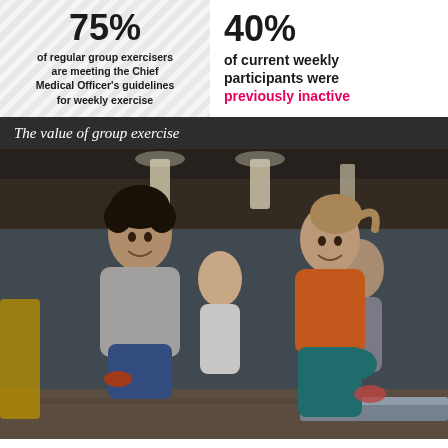of regular group exercisers are meeting the Chief Medical Officer's guidelines for weekly exercise
of current weekly participants were previously inactive
The value of group exercise
[Figure (photo): Group of smiling people doing high-knee exercises in a gym. A man in a grey t-shirt and blue shorts on the left, a woman in an orange top with teal leggings on the right, and other participants in the background.]